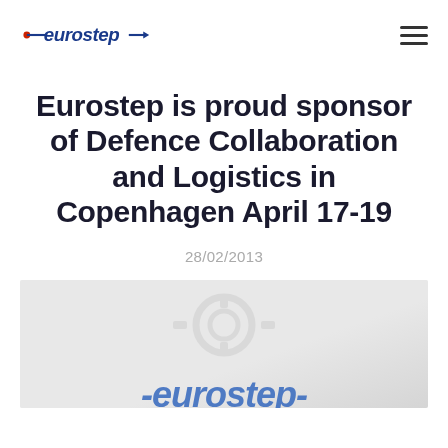eurostep [logo]
Eurostep is proud sponsor of Defence Collaboration and Logistics in Copenhagen April 17-19
28/02/2013
[Figure (photo): A faded background image showing mechanical gears or a handshake, with the Eurostep italic logo text visible at the bottom in blue.]